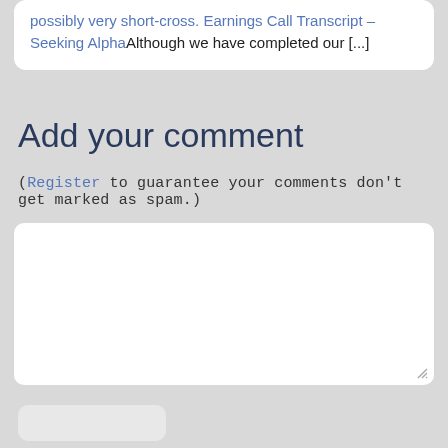possibly very short-cross. Earnings Call Transcript – Seeking AlphaAlthough we have completed our […]
Add your comment
(Register to guarantee your comments don't get marked as spam.)